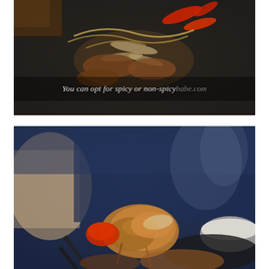[Figure (photo): Close-up of sizzling Korean stir-fry dish with meat, onions, and red peppers on a black cast-iron skillet. Dark sauce coating the ingredients.]
You can opt for spicy or non-spicy
[Figure (photo): Close-up photo of chopsticks holding a piece of Korean stir-fried meat with red pepper and onion, with blurred person and rice bowl in background.]